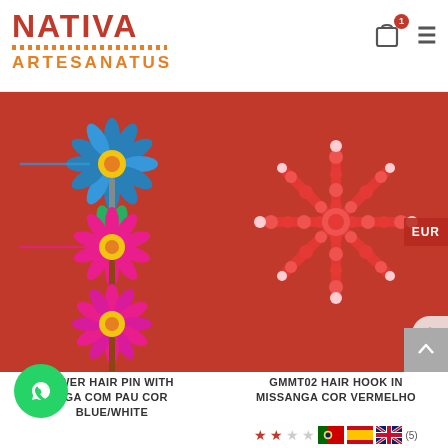[Figure (logo): Nativa Artesanatus logo with red NATIVA text, dotted line, and orange ARTESANATUS text]
[Figure (photo): Three beaded flower hair pins on red background - blue, pink, and purple flowers]
[Figure (photo): Red crochet/missanga hair hook on red background]
OWer HAIR PIN WITH NGA COM PAU COR BLUE/WHITE
GMMT02 HAIR HOOK IN MISSANGA COR VERMELHO